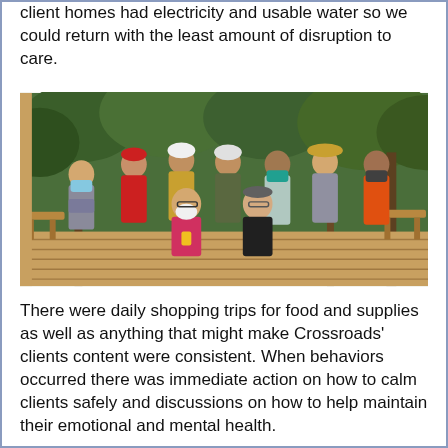client homes had electricity and usable water so we could return with the least amount of disruption to care.
[Figure (photo): Group photo of approximately 10 people standing and sitting on a wooden deck surrounded by trees. Two people are seated in the front center; the rest stand behind them. Several individuals are wearing face masks. People are dressed in casual clothing in various colors.]
There were daily shopping trips for food and supplies as well as anything that might make Crossroads' clients content were consistent. When behaviors occurred there was immediate action on how to calm clients safely and discussions on how to help maintain their emotional and mental health.